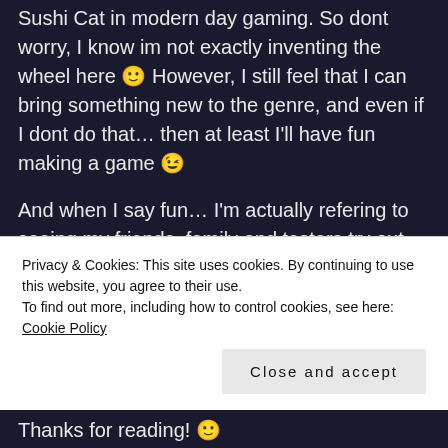Sushi Cat in modern day gaming. So dont worry, I know im not exactly inventing the wheel here 🙂 However, I still feel that I can bring something new to the genre, and even if I dont do that… then at least I'll have fun making a game 😉
And when I say fun… I'm actually refering to seeing my friends, family and testers try out the things I am working on, and providing me with feedback and their thoughts! Cause the actual programming part is about as much fun to me as trying to climb a glass wall with silk-gloves 😜 … meaning its probably more fun to
Privacy & Cookies: This site uses cookies. By continuing to use this website, you agree to their use.
To find out more, including how to control cookies, see here: Cookie Policy
Close and accept
Thanks for reading! 🙂